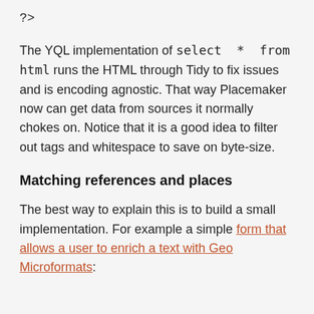?>
The YQL implementation of select * from html runs the HTML through Tidy to fix issues and is encoding agnostic. That way Placemaker now can get data from sources it normally chokes on. Notice that it is a good idea to filter out tags and whitespace to save on byte-size.
Matching references and places
The best way to explain this is to build a small implementation. For example a simple form that allows a user to enrich a text with Geo Microformats: